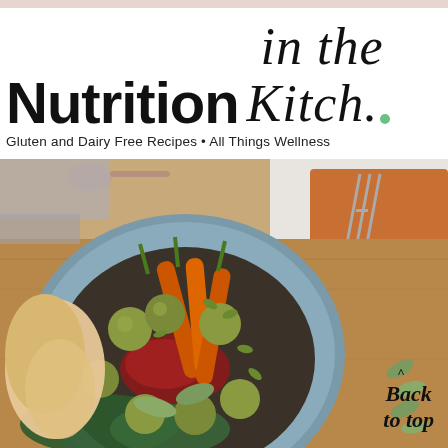Nutrition in the Kitch.
Gluten and Dairy Free Recipes · All Things Wellness
[Figure (photo): Overhead shot of a bowl filled with roasted vegetables including carrots, Brussels sprouts, turkey or chicken pieces, dark grains, pumpkin seeds, cranberry sauce, and fresh sage leaves, placed on a wooden cutting board with a fork and orange napkin visible in the background.]
Back to top